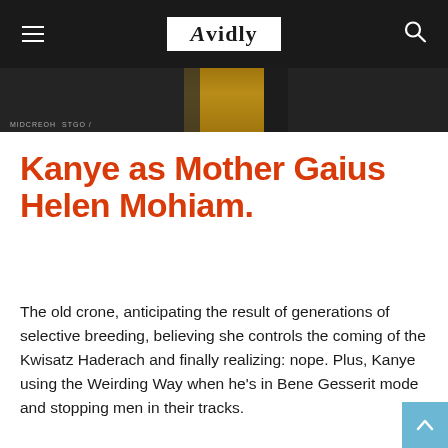Avidly
[Figure (photo): Hero image strip showing a dark background with golden/yellow tones in the center, partially cropped. Label text partially visible at bottom left.]
Kanye as Mother Gaius Helen Mohiam.
The old crone, anticipating the result of generations of selective breeding, believing she controls the coming of the Kwisatz Haderach and finally realizing: nope. Plus, Kanye using the Weirding Way when he's in Bene Gesserit mode and stopping men in their tracks.